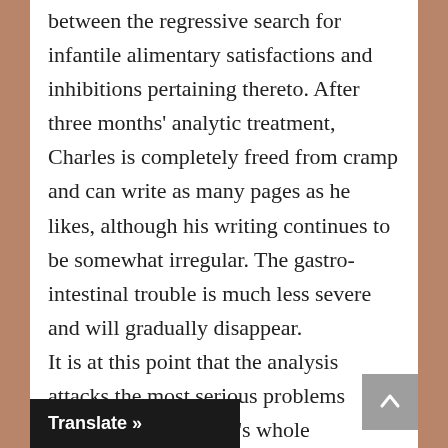between the regressive search for infantile alimentary satisfactions and inhibitions pertaining thereto. After three months' analytic treatment, Charles is completely freed from cramp and can write as many pages as he likes, although his writing continues to be somewhat irregular. The gastro-intestinal trouble is much less severe and will gradually disappear. It is at this point that the analysis attacks the most serious problems relating to the subject's whole personality those concerning his social life, his work and his marriage. Charles dreams repeatedly that he is in a half-finished house that somehow never gets finished